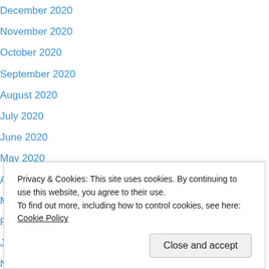December 2020
November 2020
October 2020
September 2020
August 2020
July 2020
June 2020
May 2020
April 2020
March 2020
February 2020
January 2020
November 2019
June 2019 (partially obscured)
Privacy & Cookies: This site uses cookies. By continuing to use this website, you agree to their use. To find out more, including how to control cookies, see here: Cookie Policy
June 2018